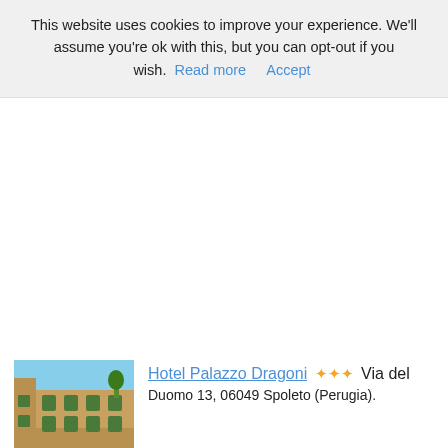This website uses cookies to improve your experience. We'll assume you're ok with this, but you can opt-out if you wish. Read more   Accept
[Figure (photo): Photo of Hotel Palazzo Dragoni building exterior, a stone building with green shutters]
Hotel Palazzo Dragoni *** Via del Duomo 13, 06049 Spoleto (Perugia).